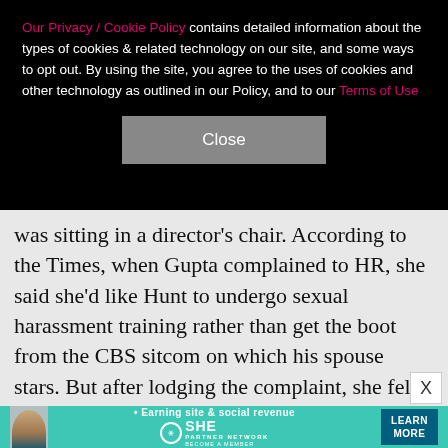Our Privacy / Cookie Policy contains detailed information about the types of cookies & related technology on our site, and some ways to opt out. By using the site, you agree to the uses of cookies and other technology as outlined in our Policy, and to our Terms of Use
Close
was sitting in a director's chair. According to the Times, when Gupta complained to HR, she said she'd like Hunt to undergo sexual harassment training rather than get the boot from the CBS sitcom on which his spouse stars. But after lodging the complaint, she felt as though the series' showrunners retaliated against her — punishing her fellow writers in the process. Ultimately, she quit in mid-September. In October, writer and co-executive producer Margee Magee, 43, also resigned
[Figure (other): Advertisement banner: SHE Partner Network - Earning site & social revenue. LEARN MORE button.]